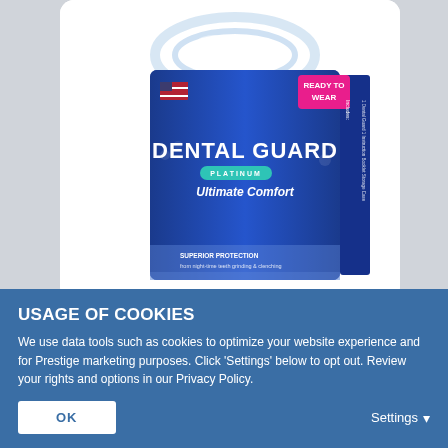[Figure (photo): Dental Guard Platinum Ultimate Comfort product box on blue background with a dental guard floating above it. A pink 'Ready to Wear' badge is shown in the top right corner. A small USA flag appears on the left side of the box.]
[Figure (illustration): Diagram/illustration of dental guard components with labels]
[Figure (photo): Dental Guard product box similar to main image, smaller thumbnail view]
USAGE OF COOKIES
We use data tools such as cookies to optimize your website experience and for Prestige marketing purposes. Click 'Settings' below to opt out. Review your rights and options in our Privacy Policy.
OK
Settings